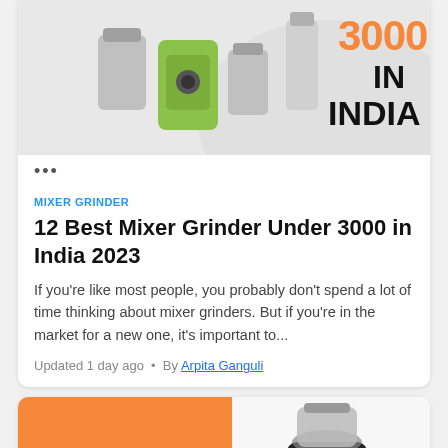[Figure (photo): Mixer grinder product image with orange and black text '3000 IN INDIA' on a light background]
•••
MIXER GRINDER
12 Best Mixer Grinder Under 3000 in India 2023
If you're like most people, you probably don't spend a lot of time thinking about mixer grinders. But if you're in the market for a new one, it's important to...
Updated 1 day ago • By Arpita Ganguli
[Figure (photo): Second article card showing orange background with white bold text 'TOP 10 BEST MIXER GRINDER IN INDIA IN 2021 | REVIEWS AND' and a black mixer grinder product image on the right]